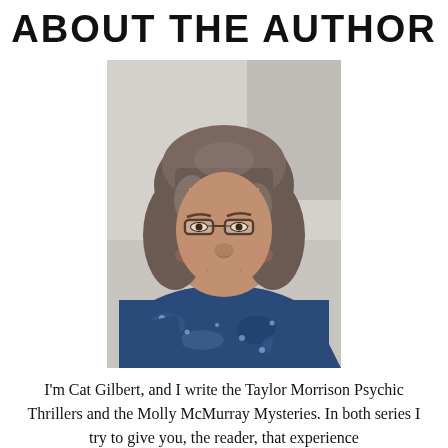ABOUT THE AUTHOR
[Figure (photo): Portrait photo of Cat Gilbert, a woman with shoulder-length brown/gray hair, wearing glasses and a blue patterned top, seated against a light gray wall.]
I'm Cat Gilbert, and I write the Taylor Morrison Psychic Thrillers and the Molly McMurray Mysteries. In both series I try to give you, the reader, that experience